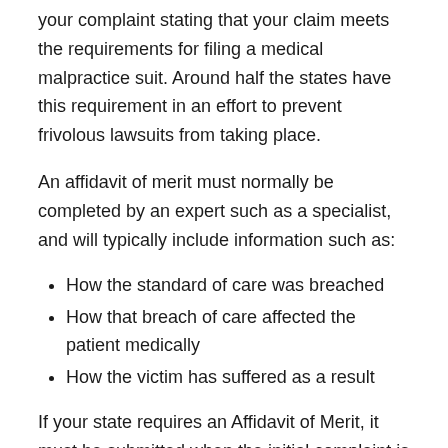your complaint stating that your claim meets the requirements for filing a medical malpractice suit. Around half the states have this requirement in an effort to prevent frivolous lawsuits from taking place.
An affidavit of merit must normally be completed by an expert such as a specialist, and will typically include information such as:
How the standard of care was breached
How that breach of care affected the patient medically
How the victim has suffered as a result
If your state requires an Affidavit of Merit, it must be submitted when the initial complaint is filed in order for it to be considered. Since this document must usually be